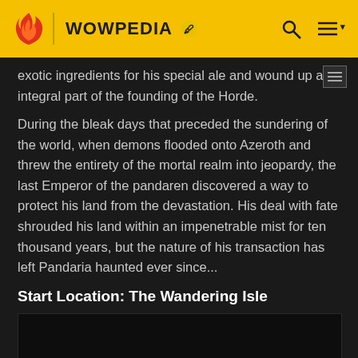WOWPEDIA
exotic ingredients for his special ale and wound up an integral part of the founding of the Horde.
During the bleak days that preceded the sundering of the world, when demons flooded onto Azeroth and threw the entirety of the mortal realm into jeopardy, the last Emperor of the pandaren discovered a way to protect his land from the devastation. His deal with fate shrouded his land within an impenetrable mist for ten thousand years, but the nature of his transaction has left Pandaria haunted ever since...
Start Location: The Wandering Isle
[Figure (photo): Dark image placeholder at bottom of page]